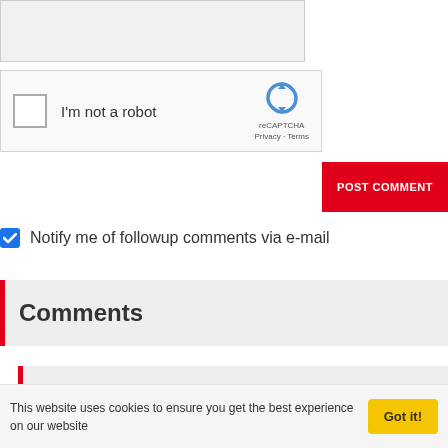[Figure (screenshot): Text area input placeholder (grey box, partially visible at top)]
[Figure (screenshot): reCAPTCHA widget with checkbox labeled 'I'm not a robot' and reCAPTCHA logo with Privacy and Terms links]
POST COMMENT
Notify me of followup comments via e-mail
Comments
Top News: Entertainment
24h   7 days   30 days
This website uses cookies to ensure you get the best experience on our website